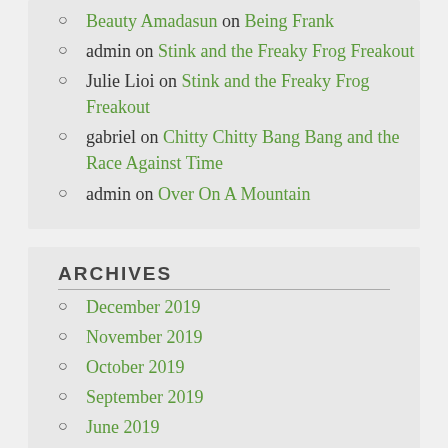Beauty Amadasun on Being Frank
admin on Stink and the Freaky Frog Freakout
Julie Lioi on Stink and the Freaky Frog Freakout
gabriel on Chitty Chitty Bang Bang and the Race Against Time
admin on Over On A Mountain
ARCHIVES
December 2019
November 2019
October 2019
September 2019
June 2019